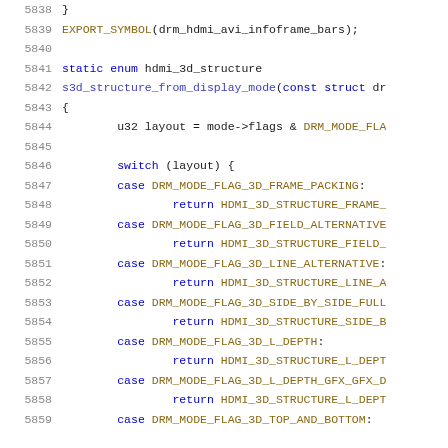[Figure (screenshot): Source code listing showing C code for HDMI 3D structure function, lines 5838-5859, with syntax highlighting. Line numbers in gray on left, keywords in blue, macros in brown/gold, function names in blue-purple.]